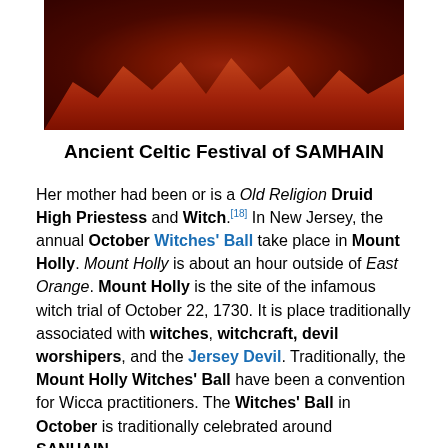[Figure (photo): Dark red-toned photograph of figures/people lit by fire or red light against a dark background, used as decorative header image for article about Samhain festival]
Ancient Celtic Festival of SAMHAIN
Her mother had been or is a Old Religion Druid High Priestess and Witch.[18] In New Jersey, the annual October Witches' Ball take place in Mount Holly. Mount Holly is about an hour outside of East Orange. Mount Holly is the site of the infamous witch trial of October 22, 1730. It is place traditionally associated with witches, witchcraft, devil worshipers, and the Jersey Devil. Traditionally, the Mount Holly Witches' Ball have been a convention for Wicca practitioners. The Witches' Ball in October is traditionally celebrated around SANHAIN.